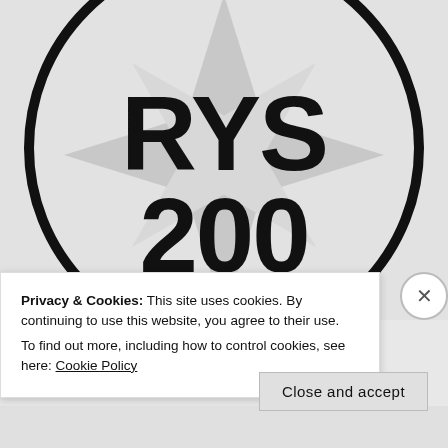[Figure (logo): RYS 200 certification logo — a circular black border with a grey star/compass shape in the background and bold black text 'RYS' on top and '200' below, with partially visible number at the bottom.]
Privacy & Cookies: This site uses cookies. By continuing to use this website, you agree to their use.
To find out more, including how to control cookies, see here: Cookie Policy
Close and accept